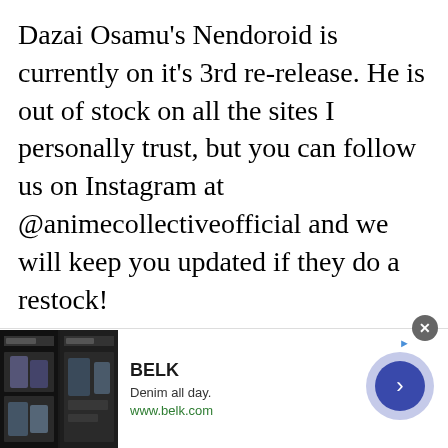Dazai Osamu's Nendoroid is currently on it's 3rd re-release. He is out of stock on all the sites I personally trust, but you can follow us on Instagram at @animecollectiveofficial and we will keep you updated if they do a restock!
[Figure (screenshot): Advertisement banner for BELK showing denim clothing images on the left, brand name BELK in bold, tagline 'Denim all day.', URL www.belk.com, and a blue arrow button on the right. A close (X) button appears at the top right corner and an ad attribution arrow icon.]